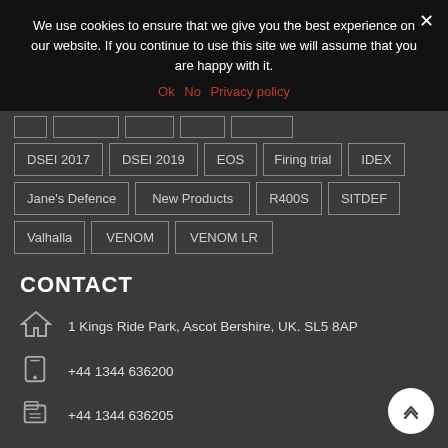We use cookies to ensure that we give you the best experience on our website. If you continue to use this site we will assume that you are happy with it.
Ok  No  Privacy policy
DSEI 2017
DSEI 2019
EOS
Firing trial
IDEX
Jane's Defence
New Products
R400S
SITDEF
Valhalla
VENOM
VENOM LR
CONTACT
1 Kings Ride Park, Ascot Bershire, UK. SL5 8AP
+44 1344 636200
+44 1344 636205